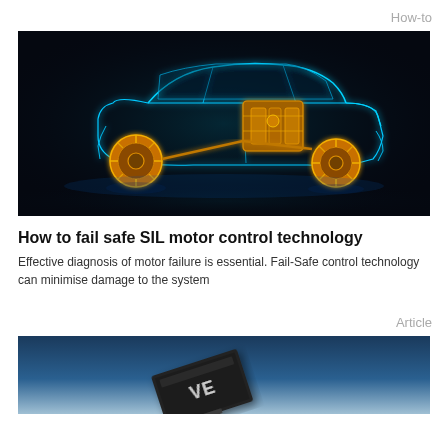How-to
[Figure (photo): X-ray / wireframe style illustration of a car showing blue glowing outline of body and yellow/gold mechanical components including engine, drivetrain, and wheels against a black background]
How to fail safe SIL motor control technology
Effective diagnosis of motor failure is essential. Fail-Safe control technology can minimise damage to the system
Article
[Figure (photo): Close-up photo of a black electronic component/chip (VE branded) on a blue-grey gradient background]